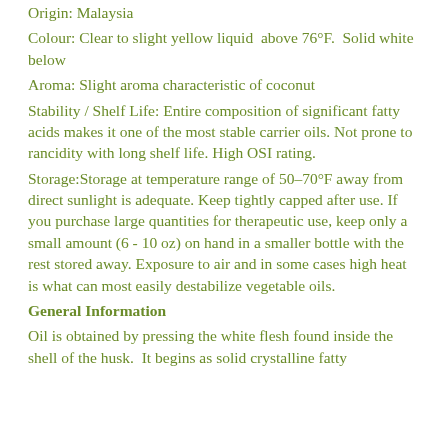Origin: Malaysia
Colour: Clear to slight yellow liquid  above 76°F.  Solid white below
Aroma: Slight aroma characteristic of coconut
Stability / Shelf Life: Entire composition of significant fatty acids makes it one of the most stable carrier oils. Not prone to rancidity with long shelf life. High OSI rating.
Storage:Storage at temperature range of 50–70°F away from direct sunlight is adequate. Keep tightly capped after use. If you purchase large quantities for therapeutic use, keep only a small amount (6 - 10 oz) on hand in a smaller bottle with the rest stored away. Exposure to air and in some cases high heat is what can most easily destabilize vegetable oils.
General Information
Oil is obtained by pressing the white flesh found inside the shell of the husk.  It begins as solid crystalline fatty